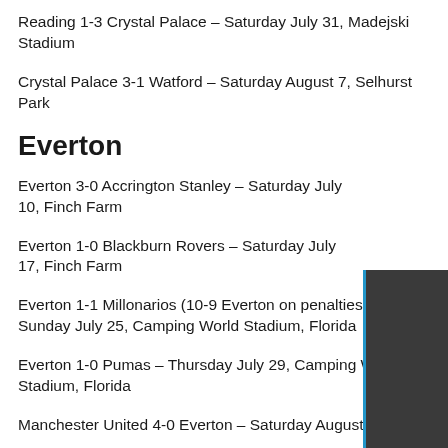Reading 1-3 Crystal Palace – Saturday July 31, Madejski Stadium
Crystal Palace 3-1 Watford – Saturday August 7, Selhurst Park
Everton
Everton 3-0 Accrington Stanley – Saturday July 10, Finch Farm
Everton 1-0 Blackburn Rovers – Saturday July 17, Finch Farm
Everton 1-1 Millonarios (10-9 Everton on penalties) – Sunday July 25, Camping World Stadium, Florida
Everton 1-0 Pumas – Thursday July 29, Camping World Stadium, Florida
Manchester United 4-0 Everton – Saturday August 7, Old